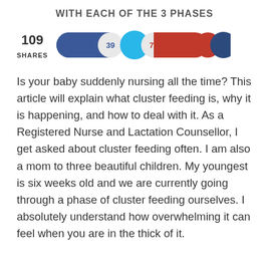WITH EACH OF THE 3 PHASES
[Figure (infographic): Social share count display showing 109 SHARES with toggle-style Facebook (39) and Pinterest (70) share buttons plus Twitter and additional social icon circles]
Is your baby suddenly nursing all the time? This article will explain what cluster feeding is, why it is happening, and how to deal with it. As a Registered Nurse and Lactation Counsellor, I get asked about cluster feeding often. I am also a mom to three beautiful children. My youngest is six weeks old and we are currently going through a phase of cluster feeding ourselves. I absolutely understand how overwhelming it can feel when you are in the thick of it. There are a number of different reasons a